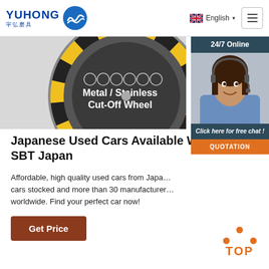YUHONG 宇弘磨具 | English | Menu
[Figure (photo): Metal/Stainless Cut-Off Wheel product image showing a circular grinding wheel with yellow/black hazard stripes and various safety icons]
[Figure (infographic): 24/7 Online chat widget with agent photo, 'Click here for free chat!' text, and QUOTATION button]
Japanese Used Cars Available Worldwide - SBT Japan
Affordable, high quality used cars from Japan. 40,000+ cars stocked and more than 30 manufacturers available worldwide. Find your perfect car now!
[Figure (other): Get Price button - dark brown/red button]
[Figure (other): TOP scroll-to-top button with orange dots and text]